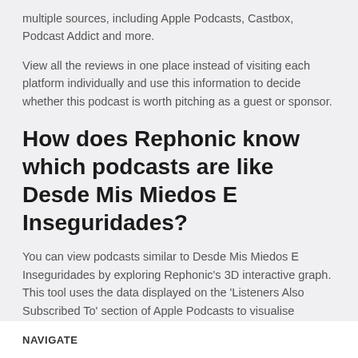multiple sources, including Apple Podcasts, Castbox, Podcast Addict and more.
View all the reviews in one place instead of visiting each platform individually and use this information to decide whether this podcast is worth pitching as a guest or sponsor.
How does Rephonic know which podcasts are like Desde Mis Miedos E Inseguridades?
You can view podcasts similar to Desde Mis Miedos E Inseguridades by exploring Rephonic's 3D interactive graph. This tool uses the data displayed on the 'Listeners Also Subscribed To' section of Apple Podcasts to visualise connections between shows.
NAVIGATE